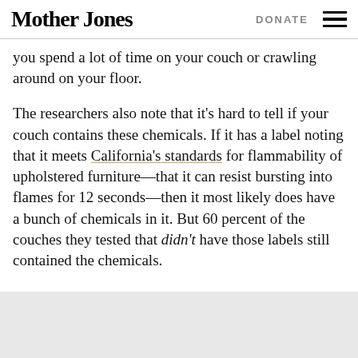Mother Jones | DONATE
you spend a lot of time on your couch or crawling around on your floor.
The researchers also note that it’s hard to tell if your couch contains these chemicals. If it has a label noting that it meets California’s standards for flammability of upholstered furniture—that it can resist bursting into flames for 12 seconds—then it most likely does have a bunch of chemicals in it. But 60 percent of the couches they tested that didn’t have those labels still contained the chemicals.